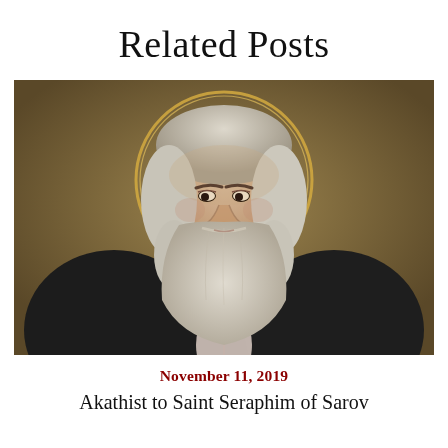Related Posts
[Figure (illustration): Orthodox icon-style portrait painting of Saint Seraphim of Sarov, an elderly bearded man with long white-gray hair and beard, wearing dark robes with a hint of pink at the chest, with a golden halo ring around his head, painted on a brown-gold background.]
November 11, 2019
Akathist to Saint Seraphim of Sarov